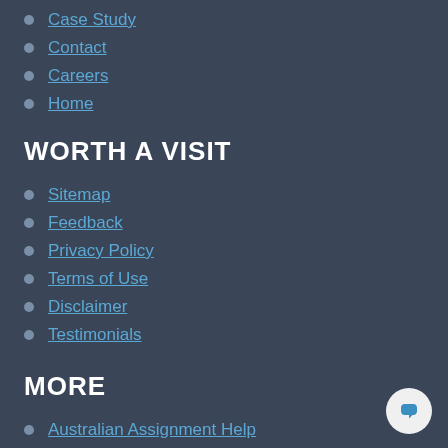Case Study
Contact
Careers
Home
WORTH A VISIT
Sitemap
Feedback
Privacy Policy
Terms of Use
Disclaimer
Testimonials
MORE
Australian Assignment Help
UK Assignment Help